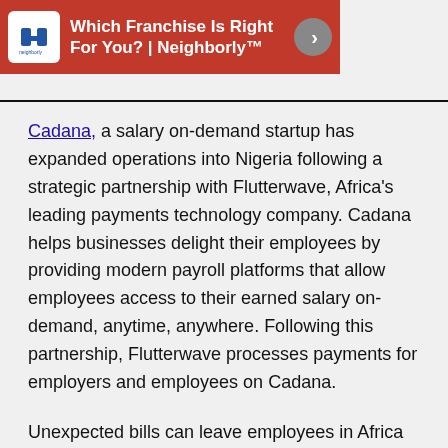[Figure (screenshot): Advertisement banner for Neighborly franchise in red/brown background with logo, text 'Which Franchise Is Right For You? | Neighborly™' and arrow button]
Cadana, a salary on-demand startup has expanded operations into Nigeria following a strategic partnership with Flutterwave, Africa's leading payments technology company. Cadana helps businesses delight their employees by providing modern payroll platforms that allow employees access to their earned salary on-demand, anytime, anywhere. Following this partnership, Flutterwave processes payments for employers and employees on Cadana.
Unexpected bills can leave employees in Africa in distress, distracting them from their day-to-day activities. The alternatives would be shortterm